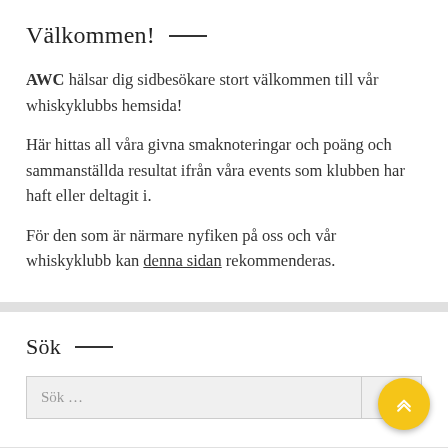Välkommen!
AWC hälsar dig sidbesökare stort välkommen till vår whiskyklubbs hemsida!
Här hittas all våra givna smaknoteringar och poäng och sammanställda resultat ifrån våra events som klubben har haft eller deltagit i.
För den som är närmare nyfiken på oss och vår whiskyklubb kan denna sidan rekommenderas.
Sök
Sök …